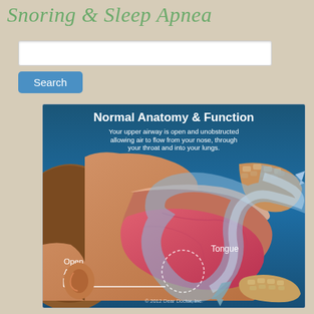Snoring & Sleep Apnea
[Figure (illustration): Normal Anatomy & Function medical illustration showing a side-profile cross-section of a human head with open airway. The image shows the tongue, open airway with an arrow indicating air flow from nose through throat and into lungs. Labels indicate 'Tongue' and 'Open Airway'. Copyright 2012 Dear Doctor, Inc.]